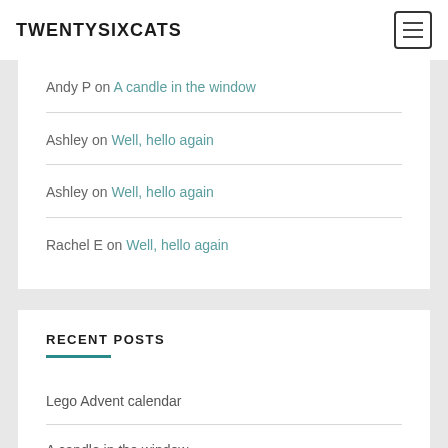TWENTYSIXCATS
Andy P on A candle in the window
Ashley on Well, hello again
Ashley on Well, hello again
Rachel E on Well, hello again
RECENT POSTS
Lego Advent calendar
A candle in the window
Allergies!